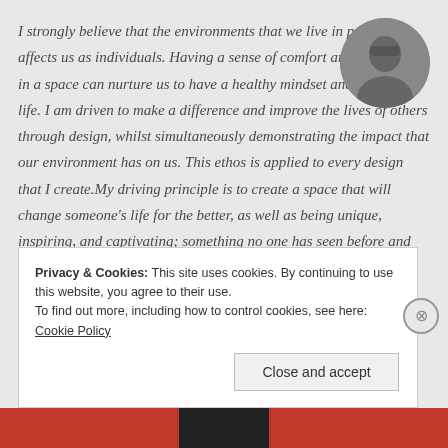I strongly believe that the environments that we live in profoundly affects us as individuals. Having a sense of comfort and belonging in a space can nurture us to have a healthy mindset and outlook on life. I am driven to make a difference and improve the lives of others through design, whilst simultaneously demonstrating the impact that our environment has on us. This ethos is applied to every design that I create.My driving principle is to create a space that will change someone's life for the better, as well as being unique, inspiring, and captivating; something no one has seen before and will never
[Figure (photo): Circular profile photo of a person, black and white / grayscale, shown in upper right area]
Privacy & Cookies: This site uses cookies. By continuing to use this website, you agree to their use.
To find out more, including how to control cookies, see here: Cookie Policy
Close and accept